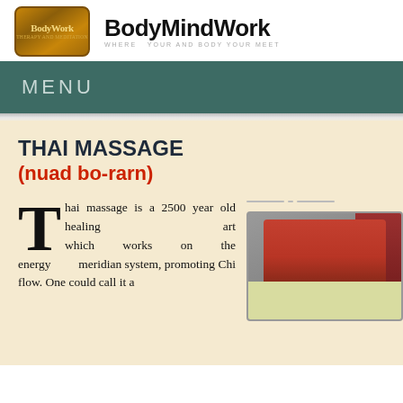[Figure (logo): BodyMindWork logo: gold/bronze rounded rectangle with stylized text, accompanied by bold brand name 'BodyMindWork' and tagline 'WHERE YOUR AND BODY YOUR MEET']
MENU
THAI MASSAGE
(nuad bo-rarn)
Thai massage is a 2500 year old healing art which works on the energy meridian system, promoting Chi flow. One could call it a
[Figure (photo): Photo of a massage therapist in red shirt performing Thai massage on a client, with red curtain background. Below is a light yellow-green colored panel.]